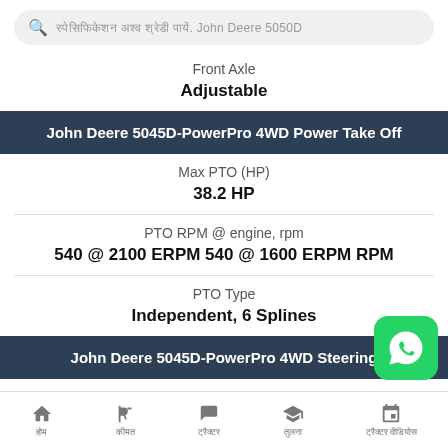John Deere 5050D (search bar)
Front Axle
Adjustable
John Deere 5045D-PowerPro 4WD Power Take Off
Max PTO (HP)
38.2 HP
PTO RPM @ engine, rpm
540 @ 2100 ERPM 540 @ 1600 ERPM RPM
PTO Type
Independent, 6 Splines
John Deere 5045D-PowerPro 4WD Steering
Steering type
Power Steering
होम | कीमत | ट्रैक्टर | तुलना | ट्रैक्टर वीडियोस